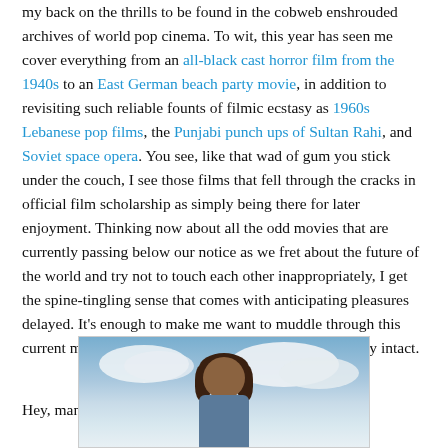my back on the thrills to be found in the cobweb enshrouded archives of world pop cinema. To wit, this year has seen me cover everything from an all-black cast horror film from the 1940s to an East German beach party movie, in addition to revisiting such reliable founts of filmic ecstasy as 1960s Lebanese pop films, the Punjabi punch ups of Sultan Rahi, and Soviet space opera. You see, like that wad of gum you stick under the couch, I see those films that fell through the cracks in official film scholarship as simply being there for later enjoyment. Thinking now about all the odd movies that are currently passing below our notice as we fret about the future of the world and try not to touch each other inappropriately, I get the spine-tingling sense that comes with anticipating pleasures delayed. It’s enough to make me want to muddle through this current mess with both my humanity and capacity for joy intact.
Hey, man. Whatever it takes.
[Figure (photo): A person with curly dark hair photographed from below against a partly cloudy sky background.]